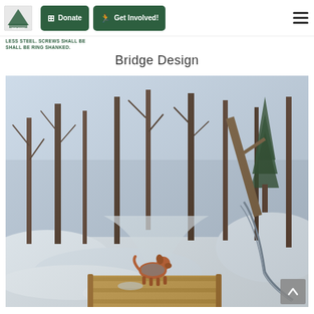Donate | Get Involved!
LESS STEEL. SCREWS SHALL BE SMALL BE RING SHANKED.
Bridge Design
[Figure (photo): A dog standing on a wooden plank bridge in a snowy forest setting. The bridge is made of wooden slats, surrounded by deep snow, bare trees, and a small creek visible to the right.]